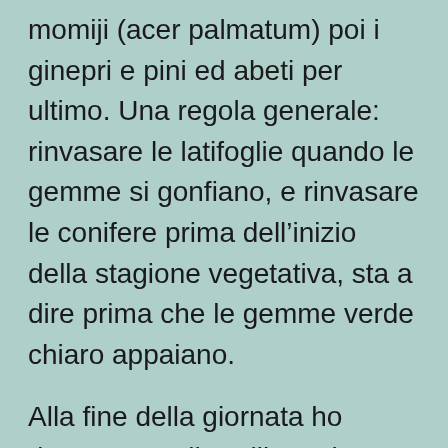momiji (acer palmatum) poi i ginepri e pini ed abeti per ultimo. Una regola generale: rinvasare le latifoglie quando le gemme si gonfiano, e rinvasare le conifere prima dell'inizio della stagione vegetativa, sta a dire prima che le gemme verde chiaro appaiano.
Alla fine della giornata ho rinvasato 5 alberelli! Tutti hanno nuove scarpe di marca, non sono delle Manolo Blanik (per chi non lo sapesse: Manolo Blanik sono le Roll Roys delle scarpe – care come il fuoco e molto esclusive), ma sono molto più belle di quel tinotto di plastica nero o peggio di quei vasi cinesi di massa che si